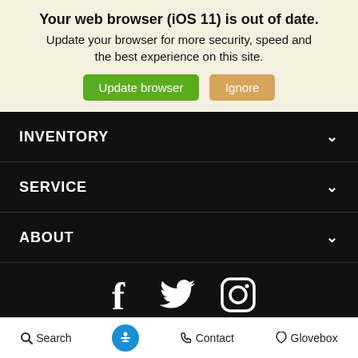Your web browser (iOS 11) is out of date. Update your browser for more security, speed and the best experience on this site.
Update browser | Ignore
INVENTORY
SERVICE
ABOUT
[Figure (other): Social media icons: Facebook, Twitter, Instagram]
PRIVACY POLICY | CONTACT US | SITEMAP | SITEMAP XML
Search | Accessibility | Contact | Glovebox